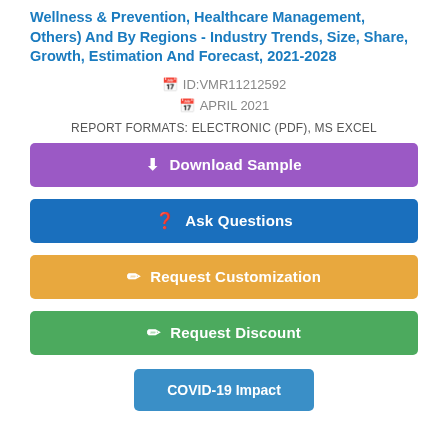Wellness & Prevention, Healthcare Management, Others) And By Regions - Industry Trends, Size, Share, Growth, Estimation And Forecast, 2021-2028
ID:VMR11212592
APRIL 2021
REPORT FORMATS: ELECTRONIC (PDF), MS EXCEL
Download Sample
Ask Questions
Request Customization
Request Discount
COVID-19 Impact